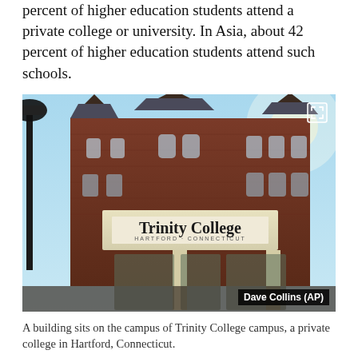percent of higher education students attend a private college or university. In Asia, about 42 percent of higher education students attend such schools.
[Figure (photo): A building on the campus of Trinity College in Hartford, Connecticut. The photo shows a red brick Gothic-style building with pointed rooftops behind a white entrance canopy bearing a Trinity College sign. A street lamp is visible on the left. Photo credit: Dave Collins (AP).]
A building sits on the campus of Trinity College campus, a private college in Hartford, Connecticut.